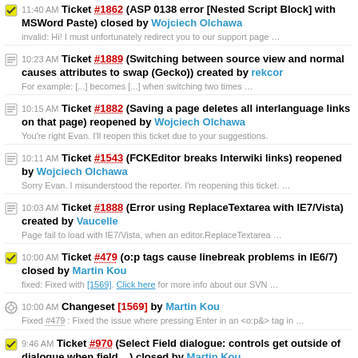11:40 AM Ticket #1862 (ASP 0138 error [Nested Script Block] with MSWord Paste) closed by Wojciech Olchawa
invalid: Hi! I must unfortunately redirect you to our support page …
10:23 AM Ticket #1889 (Switching between source view and normal causes attributes to swap (Gecko)) created by rekcor
For example: [...] becomes [...] when switching two times …
10:15 AM Ticket #1882 (Saving a page deletes all interlanguage links on that page) reopened by Wojciech Olchawa
You're right Evan. I'll reopen this ticket due to your suggestions.
10:11 AM Ticket #1543 (FCKEditor breaks Interwiki links) reopened by Wojciech Olchawa
Sorry Evan. I misunderstood the reporter. I'm reopening this ticket. …
10:03 AM Ticket #1888 (Error using ReplaceTextarea with IE7/Vista) created by Vaucelle
Page fail to load with IE7/Vista, when an editor.ReplaceTextarea …
10:00 AM Ticket #479 (o:p tags cause linebreak problems in IE6/7) closed by Martin Kou
fixed: Fixed with [1569]. Click here for more info about our SVN …
10:00 AM Changeset [1569] by Martin Kou
Fixed #479 : Fixed the issue where pressing Enter in an <o:p&> tag in …
9:46 AM Ticket #970 (Select Field dialogue: controls get outside of dialogue when field ...) closed by Martin Kou
fixed: Fixed with [1569]. Click here for more info about our SVN …